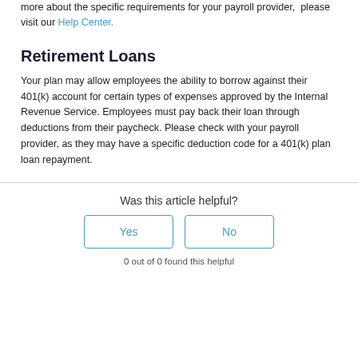more about the specific requirements for your payroll provider,  please visit our Help Center.
Retirement Loans
Your plan may allow employees the ability to borrow against their 401(k) account for certain types of expenses approved by the Internal Revenue Service. Employees must pay back their loan through deductions from their paycheck. Please check with your payroll provider, as they may have a specific deduction code for a 401(k) plan loan repayment.
Was this article helpful?
0 out of 0 found this helpful